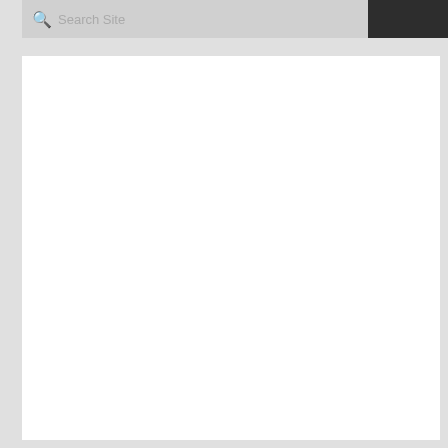Search Site
[Figure (screenshot): White content area below the search bar, mostly empty white space representing a webpage body]